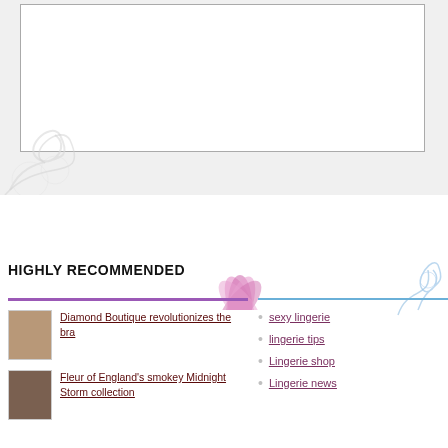[Figure (screenshot): Textarea input box for comment submission]
Submit Comment
HIGHLY RECOMMENDED
Diamond Boutique revolutionizes the bra
Fleur of England's smokey Midnight Storm collection
sexy lingerie
lingerie tips
Lingerie shop
Lingerie news